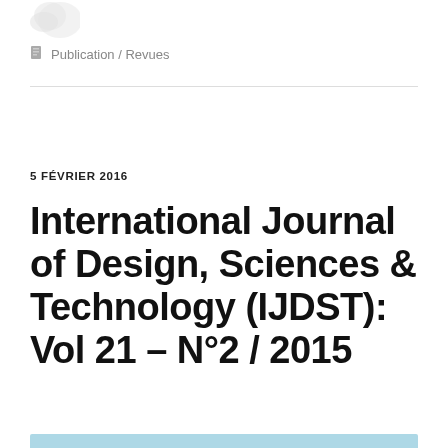[Figure (logo): Partial logo image in top-left corner, light grey/white tones]
Publication / Revues
5 FÉVRIER 2016
International Journal of Design, Sciences & Technology (IJDST): Vol 21 – N°2 / 2015